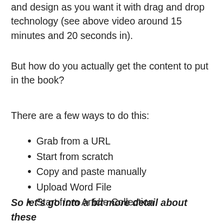and design as you want it with drag and drop technology (see above video around 15 minutes and 20 seconds in).
But how do you actually get the content to put in the book?
There are a few ways to do this:
Grab from a URL
Start from scratch
Copy and paste manually
Upload Word File
Start from Article Collection
So let's go into a bit more detail about these